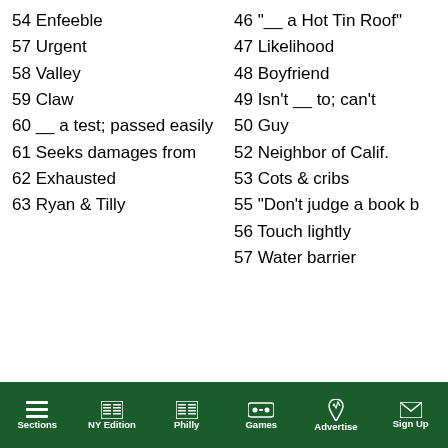54 Enfeeble
57 Urgent
58 Valley
59 Claw
60 __ a test; passed easily
61 Seeks damages from
62 Exhausted
63 Ryan & Tilly
46 "__ a Hot Tin Roof"
47 Likelihood
48 Boyfriend
49 Isn't __ to; can't
50 Guy
52 Neighbor of Calif.
53 Cots & cribs
55 "Don't judge a book b...
56 Touch lightly
57 Water barrier
Sections | NY Edition | Philly | Games | Advertise | Sign Up